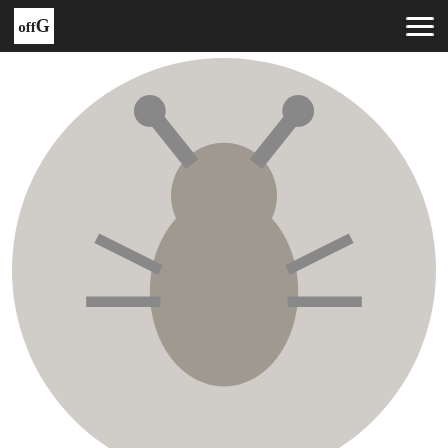offG navigation bar
[Figure (other): Small circular avatar icon of a robot/bug character]
iskratov  Feb 22, 2021 6:33 PM
Reply to sabelmouse
what does it has to do with it? precisely for that. Almost everyone prefer Dostoevsky…
0 | 0  Reply
[Figure (other): Larger circular avatar icon of a robot/bug character]
iskratov  Feb 22, 2021 6:02 PM
Reply to John Pretty
read it, it's worth it
"… I am seriously convinced that the world: both states, and estates, and houses – is ruled by completely crazy. The non-crazy abstain or cannot participate. The crazy are always better than the healthy, achieve their goals. This happens because they do not have no moral barriers, no shame, no justice, not even fear.